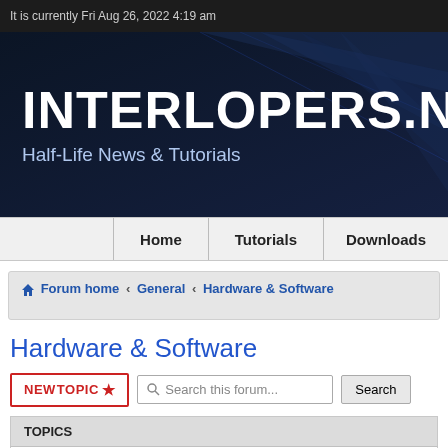It is currently Fri Aug 26, 2022 4:19 am
INTERLOPERS.NET
Half-Life News & Tutorials
Home | Tutorials | Downloads
Forum home › General › Hardware & Software
Hardware & Software
NEW TOPIC ★   Search this forum...   Search
TOPICS
New Rig Feedback.